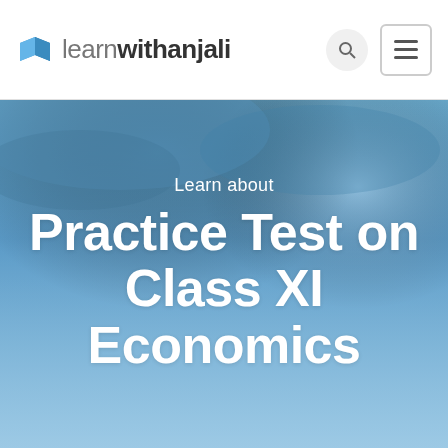learnwithanjali
[Figure (screenshot): Hero banner with blue gradient background showing 'Learn about' subtitle and 'Practice Test on Class XI Economics' main title in white text]
Learn about
Practice Test on Class XI Economics